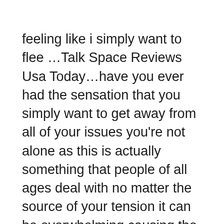feeling like i simply want to flee ...Talk Space Reviews Usa Today...have you ever had the sensation that you simply want to get away from all of your issues you're not alone as this is actually something that people of all ages deal with no matter the source of your tension it can be overwhelming causing the desire to flee from everything in fact the feeling of wanting to escape is credited to the fight or flight response
The natural biological response to distress and threat when we are positioned in demanding situations it's regular to wish to